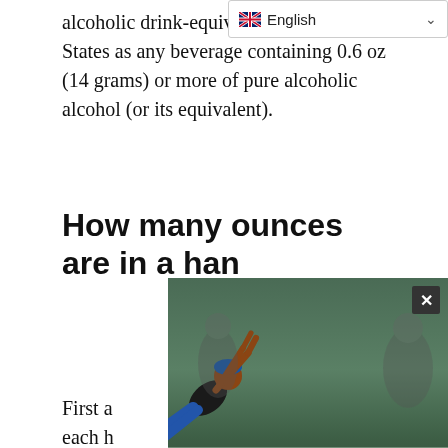English
alcoholic drink-equivalent), w... United States as any beverage containing 0.6 oz (14 grams) or more of pure alcoholic alcohol (or its equivalent).
How many ounces are in a handle of alcohol?
First a... "handle"... ement, each h... ohol. 1.75 lit...
[Figure (photo): Advertisement overlay showing a person doing sit-ups/crunches on a gym floor, with caption 'Dynamic, Fast-Paced, And Fun' and 'SOLDIERFIT Sterling']